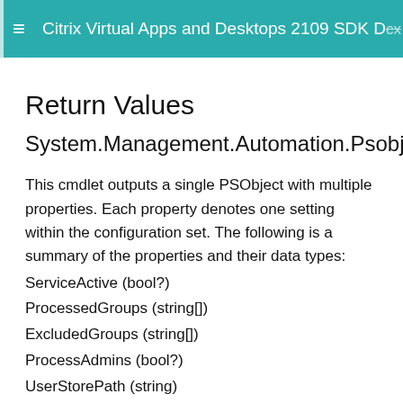Citrix Virtual Apps and Desktops 2109 SDK D…
Return Values
System.Management.Automation.Psobject
This cmdlet outputs a single PSObject with multiple properties. Each property denotes one setting within the configuration set. The following is a summary of the properties and their data types:
ServiceActive (bool?)
ProcessedGroups (string[])
ExcludedGroups (string[])
ProcessAdmins (bool?)
UserStorePath (string)
PSMulServ…AttachPool (bool?)